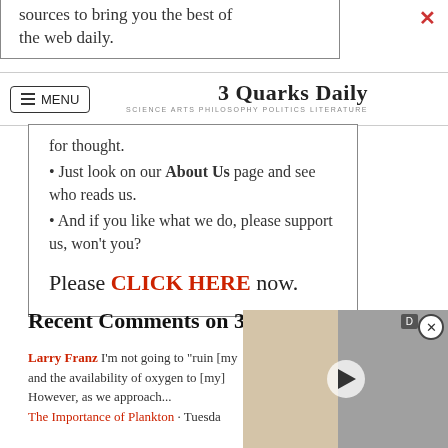sources to bring you the best of the web daily.
MENU | 3 Quarks Daily — SCIENCE ARTS PHILOSOPHY POLITICS LITERATURE
for thought.
Just look on our About Us page and see who reads us.
And if you like what we do, please support us, won't you?
Please CLICK HERE now.
Recent Comments on 3QD
Larry Franz I'm not going to "ruin [my] and the availability of oxygen to [my] However, as we approach...
The Importance of Plankton · Tuesda